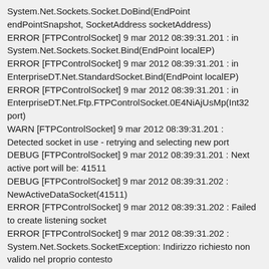System.Net.Sockets.Socket.DoBind(EndPoint endPointSnapshot, SocketAddress socketAddress)
ERROR [FTPControlSocket] 9 mar 2012 08:39:31.201 : in System.Net.Sockets.Socket.Bind(EndPoint localEP)
ERROR [FTPControlSocket] 9 mar 2012 08:39:31.201 : in EnterpriseDT.Net.StandardSocket.Bind(EndPoint localEP)
ERROR [FTPControlSocket] 9 mar 2012 08:39:31.201 : in EnterpriseDT.Net.Ftp.FTPControlSocket.0E4NiAjUsMp(Int32 port)
WARN [FTPControlSocket] 9 mar 2012 08:39:31.201 : Detected socket in use - retrying and selecting new port
DEBUG [FTPControlSocket] 9 mar 2012 08:39:31.201 : Next active port will be: 41511
DEBUG [FTPControlSocket] 9 mar 2012 08:39:31.202 : NewActiveDataSocket(41511)
ERROR [FTPControlSocket] 9 mar 2012 08:39:31.202 : Failed to create listening socket
ERROR [FTPControlSocket] 9 mar 2012 08:39:31.202 : System.Net.Sockets.SocketException: Indirizzo richiesto non valido nel proprio contesto
ERROR [FTPControlSocket] 9 mar 2012 08:39:31.202 : in System.Net.Sockets.Socket.DoBind(EndPoint endPointSnapshot, SocketAddress socketAddress)
ERROR [FTPControlSocket] 9 mar 2012 08:39:31.202 : in